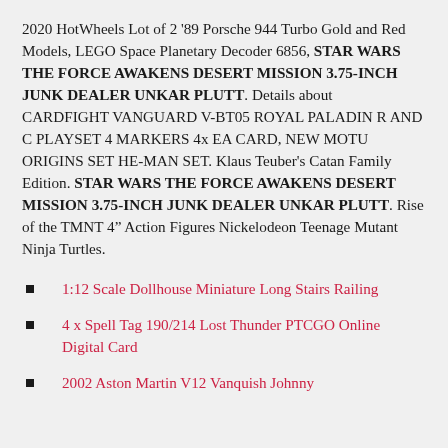2020 HotWheels Lot of 2 '89 Porsche 944 Turbo Gold and Red Models, LEGO Space Planetary Decoder 6856, STAR WARS THE FORCE AWAKENS DESERT MISSION 3.75-INCH JUNK DEALER UNKAR PLUTT. Details about CARDFIGHT VANGUARD V-BT05 ROYAL PALADIN R AND C PLAYSET 4 MARKERS 4x EA CARD, NEW MOTU ORIGINS SET HE-MAN SET. Klaus Teuber's Catan Family Edition. STAR WARS THE FORCE AWAKENS DESERT MISSION 3.75-INCH JUNK DEALER UNKAR PLUTT. Rise of the TMNT 4” Action Figures Nickelodeon Teenage Mutant Ninja Turtles.
1:12 Scale Dollhouse Miniature Long Stairs Railing
4 x Spell Tag 190/214 Lost Thunder PTCGO Online Digital Card
2002 Aston Martin V12 Vanquish Johnny